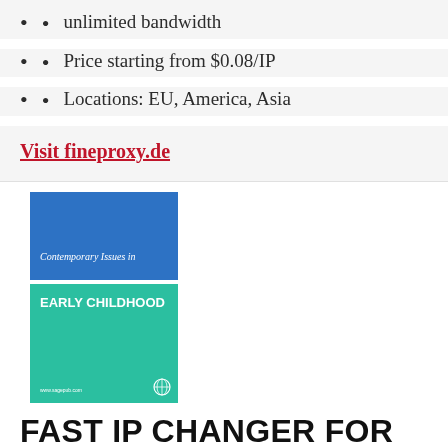unlimited bandwidth
Price starting from $0.08/IP
Locations: EU, America, Asia
Visit fineproxy.de
[Figure (illustration): Book cover: 'Contemporary Issues in EARLY CHILDHOOD' — blue upper half with white text, teal/green lower half with white bold text, small globe icon bottom right]
FAST IP CHANGER FOR WINDOWS DOWNLOAD | SOURCEE